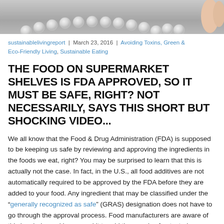[Figure (photo): Photo of white pills/tablets arranged in a curved line on a grey surface, with a hand visible at the right edge holding a pill]
sustainablelivingreport | March 23, 2016 | Avoiding Toxins, Green & Eco-Friendly Living, Sustainable Eating
THE FOOD ON SUPERMARKET SHELVES IS FDA APPROVED, SO IT MUST BE SAFE, RIGHT? NOT NECESSARILY, SAYS THIS SHORT BUT SHOCKING VIDEO...
We all know that the Food & Drug Administration (FDA) is supposed to be keeping us safe by reviewing and approving the ingredients in the foods we eat, right? You may be surprised to learn that this is actually not the case. In fact, in the U.S., all food additives are not automatically required to be approved by the FDA before they are added to your food. Any ingredient that may be classified under the “generally recognized as safe” (GRAS) designation does not have to go through the approval process. Food manufacturers are aware of this loophole, and have used it to add thousands of untested ingredients to your